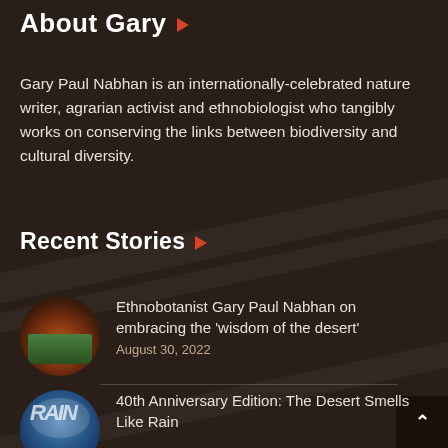About Gary ▶
Gary Paul Nabhan is an internationally-celebrated nature writer, agrarian activist and ethnobiologist who tangibly works on conserving the links between biodiversity and cultural diversity.
Recent Stories ▶
Ethnobotanist Gary Paul Nabhan on embracing the 'wisdom of the desert'
August 30, 2022
[Figure (photo): Circular thumbnail photo of a desert landscape with reddish terrain and green vegetation]
40th Anniversary Edition: The Desert Smells Like Rain
[Figure (photo): Circular thumbnail image of the book cover 'The Desert Smells Like Rain' with blue tones and text RAIN]